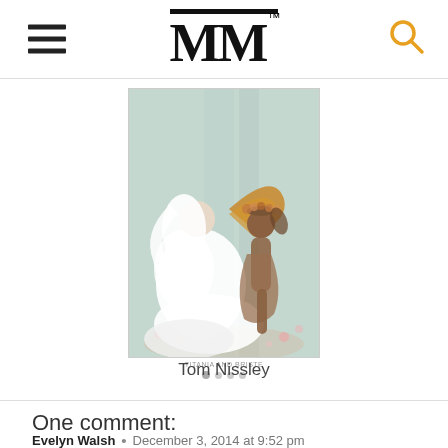MM™ — navigation header with hamburger menu and search icon
[Figure (illustration): Vintage fairy tale illustration showing two fairy figures — one in white flowing dress with large golden wings leaning toward another darker figure wearing a flower crown, set against a soft pastel garden background. Small caption text below reads 'TITANIA AND BRISTE' with image slider dots. Label below reads 'Tom Nissley'.]
Tom Nissley
One comment:
Evelyn Walsh  •  December 3, 2014 at 9:52 pm